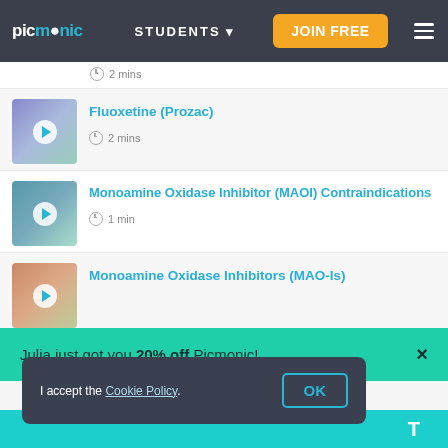picmonic | STUDENTS | JOIN FREE
2 mins
Fluoxetine (Prozac) — 2 mins
Monoamine Oxidase Inhibitor (MAOI) Contraindications — 1 min
Monoamine Oxidase Inhibitors (MAO-Is)
Julia just got you 20% off Picmonic!
I accept the Cookie Policy. OK